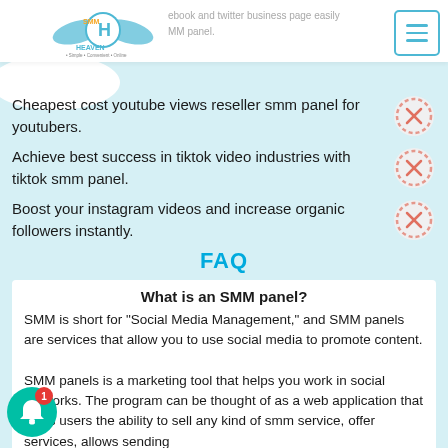Manage facebook and twitter business page easily with SMM panel.
[Figure (logo): SMM Heaven logo with angel wings and text 'Simple Convenient Online']
Cheapest cost youtube views reseller smm panel for youtubers.
Achieve best success in tiktok video industries with tiktok smm panel.
Boost your instagram videos and increase organic followers instantly.
FAQ
What is an SMM panel?
SMM is short for "Social Media Management," and SMM panels are services that allow you to use social media to promote content. SMM panels is a marketing tool that helps you work in social networks. The program can be thought of as a web application that gives users the ability to sell any kind of smm service, offer services, allows sending